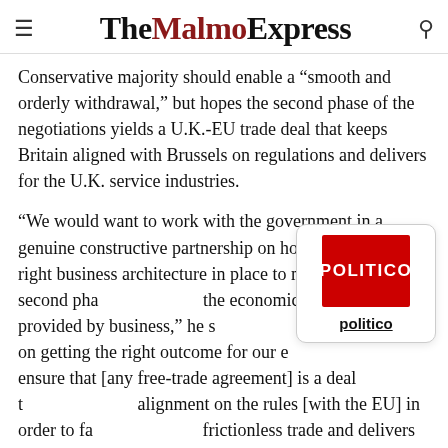The Malmo Express
Conservative majority should enable a “smooth and orderly withdrawal,” but hopes the second phase of the negotiations yields a U.K.-EU trade deal that keeps Britain aligned with Brussels on regulations and delivers for the U.K. service industries.
“We would want to work with the government in a genuine constructive partnership on how we can get the right business architecture in place to make sure the second pha… the economic evidence provided by business,” he s… needs to be on getting the right outcome for our e… ensure that [any free-trade agreement] is a deal t… alignment on the rules [with the EU] in order to fa… frictionless trade and delivers for our world-leadin… industries. At the moment, the governments politi… is light on services, and that is where the U.K. has so much to
[Figure (logo): Politico logo: red square with white bold text POLITICO, and the word 'politico' underlined below in black on white background with rounded border]